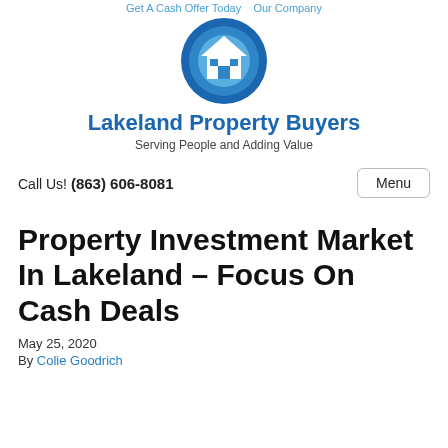Get A Cash Offer Today   Our Company
[Figure (logo): Lakeland Property Buyers logo: circular blue icon with a white house silhouette]
Lakeland Property Buyers
Serving People and Adding Value
Call Us! (863) 606-8081
Menu
Property Investment Market In Lakeland – Focus On Cash Deals
May 25, 2020
By Colie Goodrich